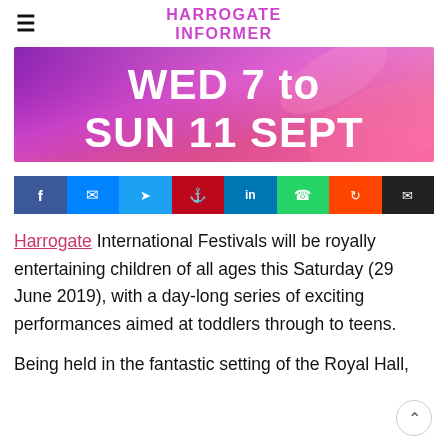HARROGATE INFORMER
[Figure (other): Banner image with purple/pink gradient background and bold white text reading WED 7 to SUN 11 SEPT]
[Figure (infographic): Social sharing buttons row: Facebook, Messenger, Twitter, Pinterest, LinkedIn, WhatsApp, Reddit, Email]
Harrogate International Festivals will be royally entertaining children of all ages this Saturday (29 June 2019), with a day-long series of exciting performances aimed at toddlers through to teens.
Being held in the fantastic setting of the Royal Hall,